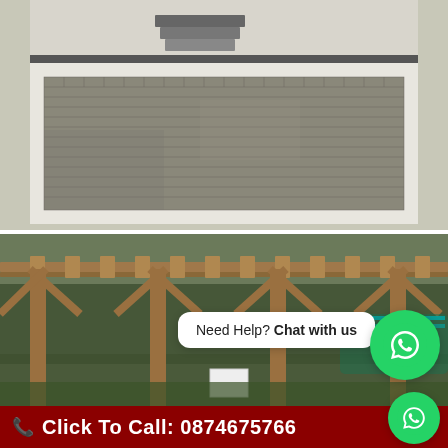[Figure (photo): Photograph of a herringbone brick/block paving driveway with a white border, steps visible in the background near a house]
[Figure (photo): Photograph of a wooden pergola structure in a garden, with a trampoline visible in the background and a WhatsApp chat bubble overlay reading 'Need Help? Chat with us']
Click To Call: 0874675766